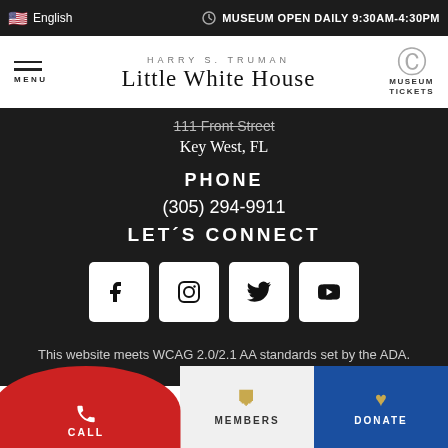🇺🇸 English | MUSEUM OPEN DAILY 9:30AM-4:30PM
[Figure (logo): Harry S. Truman Little White House logo with menu and museum tickets navigation]
111 Front Street
Key West, FL
PHONE
(305) 294-9911
LET'S CONNECT
[Figure (infographic): Social media icons: Facebook, Instagram, Twitter, YouTube in white rounded square boxes]
This website meets WCAG 2.0/2.1 AA standards set by the ADA.
View our...
CALL | MEMBERS | DONATE